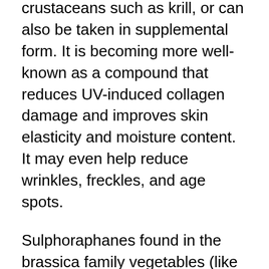crustaceans such as krill, or can also be taken in supplemental form. It is becoming more well-known as a compound that reduces UV-induced collagen damage and improves skin elasticity and moisture content. It may even help reduce wrinkles, freckles, and age spots.
Sulphoraphanes found in the brassica family vegetables (like broccoli, cabbage, and kale) are well-known liver supportive and cancer reducing compounds, which are also UV protective.
In terms of topical protection, the debate still continues as to how significant the impact of sunscreen is in terms of cancer protection. Since the intent of sunscreen is to protect the skin from sun damage and the risk of skin cancer, it is counter-productive to use chemical-based